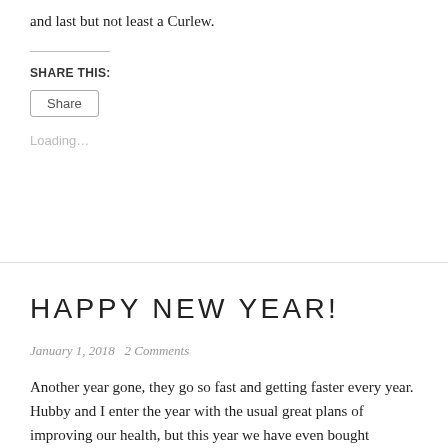and last but not least a Curlew.
SHARE THIS:
Share
Loading...
HAPPY NEW YEAR!
January 1, 2018   2 Comments
Another year gone, they go so fast and getting faster every year. Hubby and I enter the year with the usual great plans of improving our health, but this year we have even bought